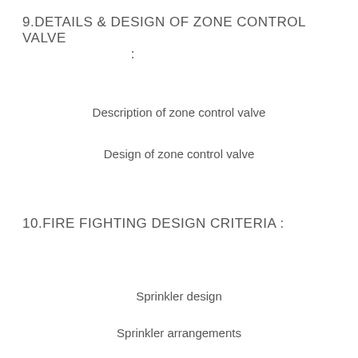9.DETAILS & DESIGN OF ZONE CONTROL VALVE :
Description of zone control valve
Design of zone control valve
10.FIRE FIGHTING DESIGN CRITERIA :
Sprinkler design
Sprinkler arrangements